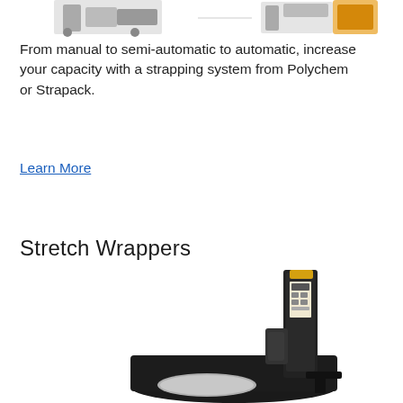[Figure (photo): Partial view of strapping machine equipment at the top of the page]
From manual to semi-automatic to automatic, increase your capacity with a strapping system from Polychem or Strapack.
Learn More
Stretch Wrappers
[Figure (photo): A stretch wrapper machine with a rotating turntable base and vertical mast with film carriage, shown on a dark mat]